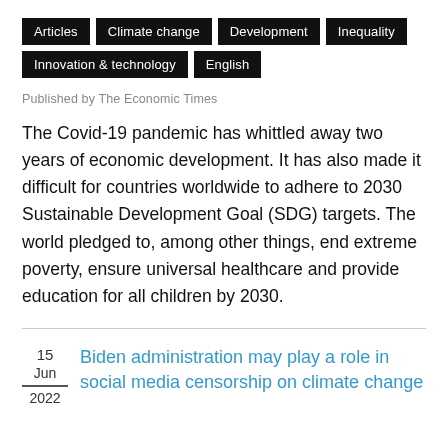Articles
Climate change
Development
Inequality
Innovation & technology
English
Published by The Economic Times
The Covid-19 pandemic has whittled away two years of economic development. It has also made it difficult for countries worldwide to adhere to 2030 Sustainable Development Goal (SDG) targets. The world pledged to, among other things, end extreme poverty, ensure universal healthcare and provide education for all children by 2030.
15
Jun
2022
Biden administration may play a role in social media censorship on climate change